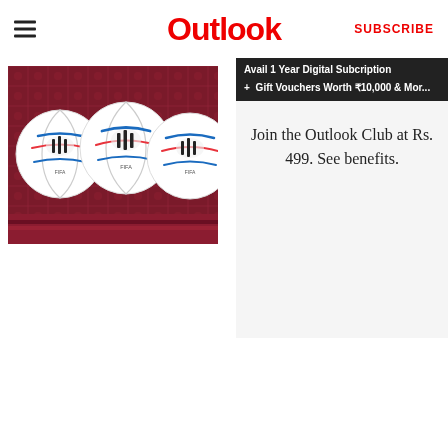Outlook
[Figure (photo): Three white Adidas soccer balls (FIFA World Cup Qatar 2022 Al Rihla balls) displayed on a red/patterned surface, shown from above at a slight angle.]
[Figure (screenshot): Advertisement banner: 'Avail 1 Year Digital Subscription + Gift Vouchers Worth ₹10,000 & More']
Join the Outlook Club at Rs. 499. See benefits.